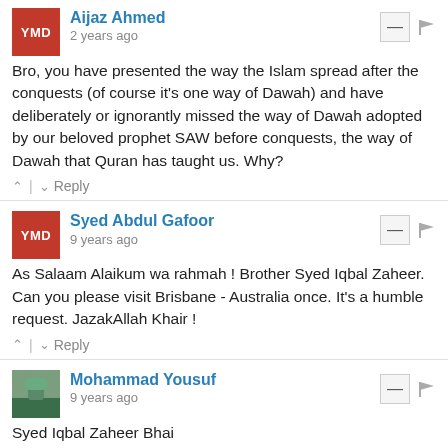Aijaz Ahmed
2 years ago
Bro, you have presented the way the Islam spread after the conquests (of course it's one way of Dawah) and have deliberately or ignorantly missed the way of Dawah adopted by our beloved prophet SAW before conquests, the way of Dawah that Quran has taught us. Why?
Reply
Syed Abdul Gafoor
9 years ago
As Salaam Alaikum wa rahmah ! Brother Syed Iqbal Zaheer. Can you please visit Brisbane - Australia once. It's a humble request. JazakAllah Khair !
Reply
Mohammad Yousuf
9 years ago
Syed Iqbal Zaheer Bhai

Assalaamu 'Alaykum Wa Rahmatullaahi Wa Barakaatuh!

Congratulations for undertaking an incisive analysis. Ummah